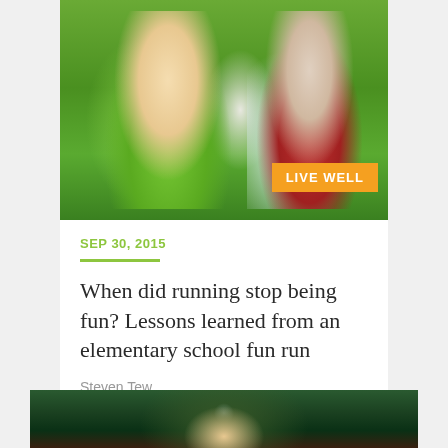[Figure (photo): Children running outdoors, girl in green shirt and boy in red and white baseball shirt, green grassy background with 'LIVE WELL' orange badge overlay]
SEP 30, 2015
When did running stop being fun? Lessons learned from an elementary school fun run
Steven Tew
[Figure (photo): Close-up of elderly hands holding something, dark green background]